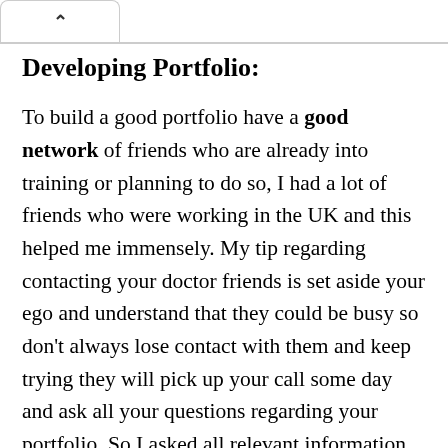Developing Portfolio:
To build a good portfolio have a good network of friends who are already into training or planning to do so, I had a lot of friends who were working in the UK and this helped me immensely. My tip regarding contacting your doctor friends is set aside your ego and understand that they could be busy so don't always lose contact with them and keep trying they will pick up your call some day and ask all your questions regarding your portfolio. So I asked all relevant information from my friends and furthermore I messaged random/ prominent people active on different IMG groups and most of them would reply to agree to help you and would share good relevant information.